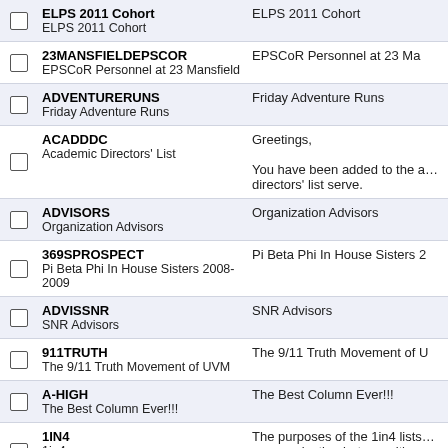|  | List Name / Description | Preview |
| --- | --- | --- |
| ☐ | ELPS 2011 Cohort
ELPS 2011 Cohort | ELPS 2011 Cohort |
| ☐ | 23MANSFIELDEPSCOR
EPSCoR Personnel at 23 Mansfield | EPSCoR Personnel at 23 Ma… |
| ☐ | ADVENTURERUNS
Friday Adventure Runs | Friday Adventure Runs |
| ☐ | ACADDDC
Academic Directors' List | Greetings,
You have been added to the a… directors' list serve. |
| ☐ | ADVISORS
Organization Advisors | Organization Advisors |
| ☐ | 369SPROSPECT
Pi Beta Phi In House Sisters 2008-2009 | Pi Beta Phi In House Sisters 2… |
| ☐ | ADVISSNR
SNR Advisors | SNR Advisors |
| ☐ | 911TRUTH
The 9/11 Truth Movement of UVM | The 9/11 Truth Movement of U… |
| ☐ | A-HIGH
The Best Column Ever!!! | The Best Column Ever!!! |
| ☐ | 1IN4
1in4 | The purposes of the 1in4 lists… communication between it's m… advisors. |
| ☐ | ACRE
Agriculture Community for Resources & Education | This list if for contacting mem… group, ACRE, about events a… |